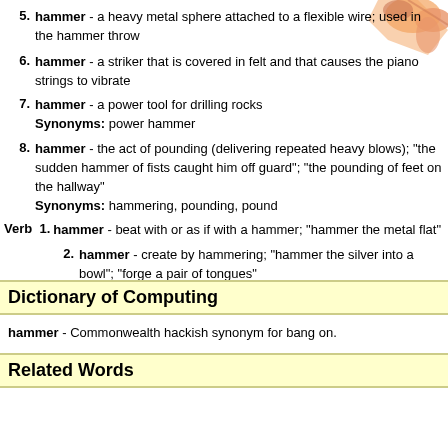[Figure (illustration): Illustration of hands in top-right corner, partially visible]
5. hammer - a heavy metal sphere attached to a flexible wire; used in the hammer throw
6. hammer - a striker that is covered in felt and that causes the piano strings to vibrate
7. hammer - a power tool for drilling rocks
Synonyms: power hammer
8. hammer - the act of pounding (delivering repeated heavy blows); "the sudden hammer of fists caught him off guard"; "the pounding of feet on the hallway"
Synonyms: hammering, pounding, pound
Verb 1. hammer - beat with or as if with a hammer; "hammer the metal flat"
2. hammer - create by hammering; "hammer the silver into a bowl"; "forge a pair of tongues"
Synonyms: forge
Dictionary of Computing
hammer - Commonwealth hackish synonym for bang on.
Related Words